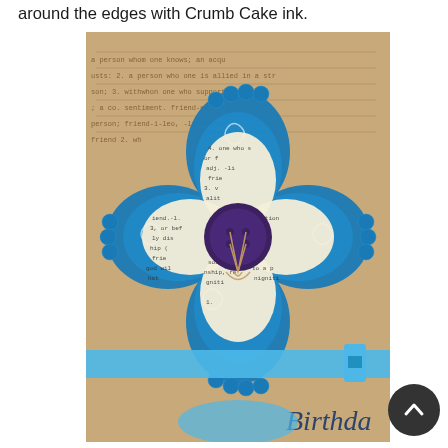around the edges with Crumb Cake ink.
[Figure (photo): A handmade birthday card featuring a large decorative paper flower with blue scalloped edges and dictionary text patterned petals, centered with a dark purple button tied with twine. The card background is kraft/brown with stamped dictionary text, a blue ribbon band, and partial view of a 'Birthday' sentiment at the bottom.]